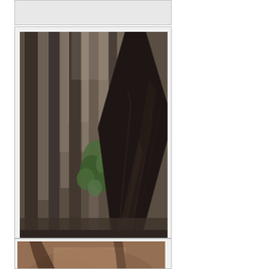[Figure (photo): Forest photo card - pine tree trunks with a diagonal dark trunk and green ivy in the background, from Little Lake Creek Loop Trail in Sam Houston National Forest]
.../2008/659/11.htm    similar
Pine tree trunks from Little Lake Creek Loop Trail in Sam Houston National Forest. Richards, Texas, July 20, 2008
[Figure (photo): Ground-level forest photo showing pine tree roots, bark, and forest floor debris with some small green plants visible]